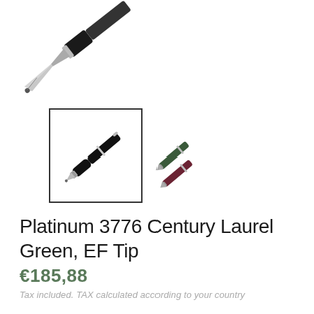[Figure (photo): Close-up photo of a fountain pen nib at top of page, angled diagonally, showing the metal nib tip and black barrel grip section.]
[Figure (photo): Two product thumbnail images side by side. Left thumbnail (selected, with black border): black Platinum 3776 Century fountain pen laying diagonally. Right thumbnail: two pens in green and burgundy/red colors showing clip section.]
Platinum 3776 Century Laurel Green, EF Tip
€185,88
Tax included. TAX calculated according to your country